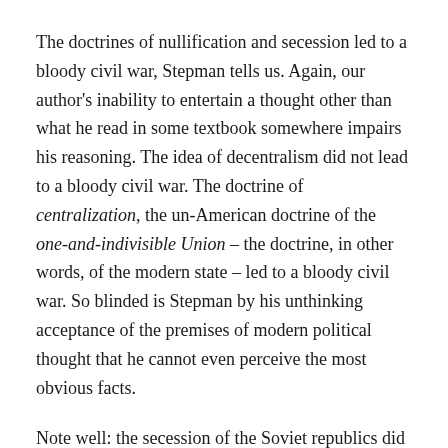The doctrines of nullification and secession led to a bloody civil war, Stepman tells us. Again, our author's inability to entertain a thought other than what he read in some textbook somewhere impairs his reasoning. The idea of decentralism did not lead to a bloody civil war. The doctrine of centralization, the un-American doctrine of the one-and-indivisible Union – the doctrine, in other words, of the modern state – led to a bloody civil war. So blinded is Stepman by his unthinking acceptance of the premises of modern political thought that he cannot even perceive the most obvious facts.
Note well: the secession of the Soviet republics did not lead to a bloody civil war. The secession of Slovenia did not lead to a bloody civil war. The secession of Norway from Sweden did not lead to a bloody civil war. There is nothing about secession in and of itself that need involve violence, as long as we are